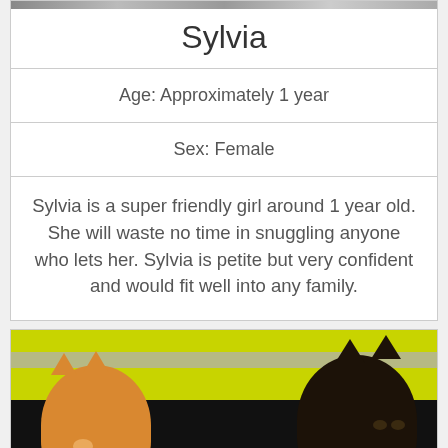[Figure (photo): Partial photo of cats at top of page, cropped]
Sylvia
Age: Approximately 1 year
Sex: Female
Sylvia is a super friendly girl around 1 year old. She will waste no time in snuggling anyone who lets her. Sylvia is petite but very confident and would fit well into any family.
[Figure (photo): Photo of two kittens — an orange/white kitten and a black fluffy kitten — being held by a person in a yellow high-visibility jacket]